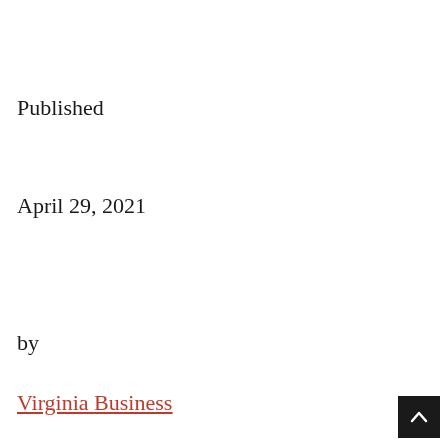Published
April 29, 2021
by
Virginia Business